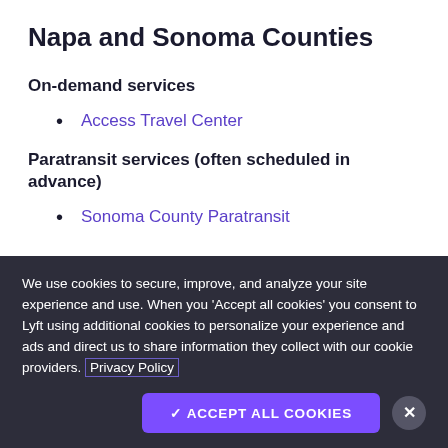Napa and Sonoma Counties
On-demand services
Access Travel Center
Paratransit services (often scheduled in advance)
Sonoma County Paratransit
We use cookies to secure, improve, and analyze your site experience and use. When you 'Accept all cookies' you consent to Lyft using additional cookies to personalize your experience and ads and direct us to share information they collect with our cookie providers. Privacy Policy
✓ ACCEPT ALL COOKIES